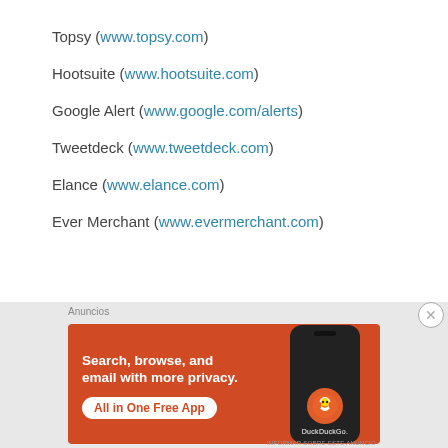Topsy (www.topsy.com)
Hootsuite (www.hootsuite.com)
Google Alert (www.google.com/alerts)
Tweetdeck (www.tweetdeck.com)
Elance (www.elance.com)
Ever Merchant (www.evermerchant.com)
[Figure (screenshot): DuckDuckGo advertisement banner with orange background. Text: 'Search, browse, and email with more privacy. All in One Free App'. Shows a phone with DuckDuckGo logo. Label 'Anuncios' above the ad.]